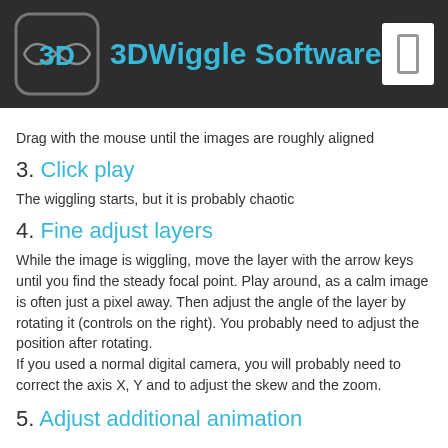3DWiggle Software
Drag with the mouse until the images are roughly aligned
3. Click play
The wiggling starts, but it is probably chaotic
4. Fine adjust layers
While the image is wiggling, move the layer with the arrow keys until you find the steady focal point. Play around, as a calm image is often just a pixel away. Then adjust the angle of the layer by rotating it (controls on the right). You probably need to adjust the position after rotating.
If you used a normal digital camera, you will probably need to correct the axis X, Y and to adjust the skew and the zoom.
5. Adjust additional animation